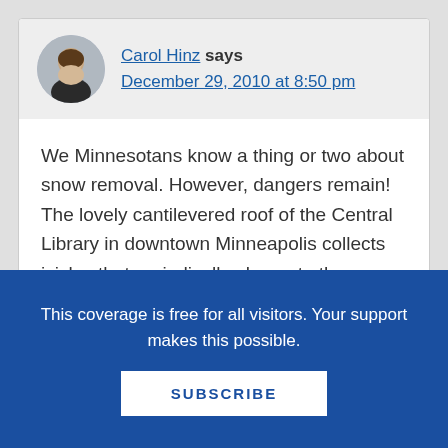Carol Hinz says
December 29, 2010 at 8:50 pm
We Minnesotans know a thing or two about snow removal. However, dangers remain! The lovely cantilevered roof of the Central Library in downtown Minneapolis collects icicles that periodically plunge to the sidewalk below. So the sidewalks are passable, but barriers are needed to protect the library patrons.
This coverage is free for all visitors. Your support makes this possible.
SUBSCRIBE